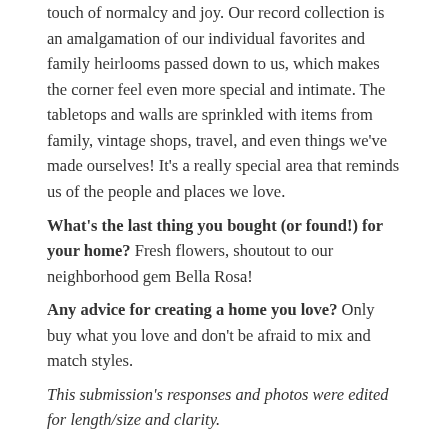touch of normalcy and joy. Our record collection is an amalgamation of our individual favorites and family heirlooms passed down to us, which makes the corner feel even more special and intimate. The tabletops and walls are sprinkled with items from family, vintage shops, travel, and even things we've made ourselves! It's a really special area that reminds us of the people and places we love.
What's the last thing you bought (or found!) for your home? Fresh flowers, shoutout to our neighborhood gem Bella Rosa!
Any advice for creating a home you love? Only buy what you love and don't be afraid to mix and match styles.
This submission's responses and photos were edited for length/size and clarity.
Recent Posts